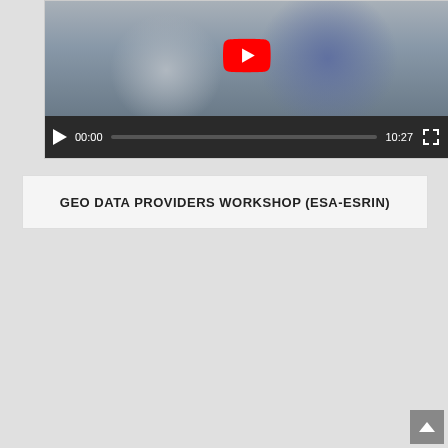[Figure (screenshot): YouTube video player (partially visible at top) showing children, with playback controls showing 00:00 / 10:27]
GEO DATA PROVIDERS WORKSHOP (ESA-ESRIN)
[Figure (screenshot): YouTube video player showing 'Deep Green Madagascar' video with channel avatar 'A', video thumbnail with YouTube play button overlay, and playback controls showing 00:00 / 01:51]